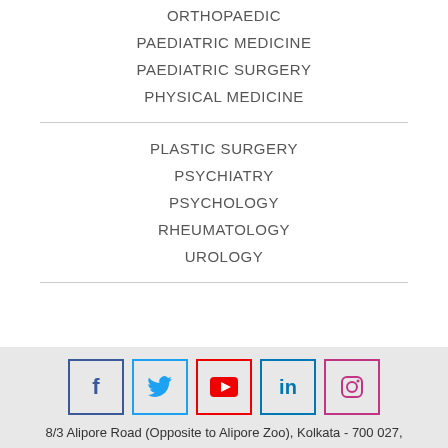ORTHOPAEDIC
PAEDIATRIC MEDICINE
PAEDIATRIC SURGERY
PHYSICAL MEDICINE
PLASTIC SURGERY
PSYCHIATRY
PSYCHOLOGY
RHEUMATOLOGY
UROLOGY
[Figure (infographic): Social media icons: Facebook, Twitter, YouTube, LinkedIn, Instagram]
8/3 Alipore Road (Opposite to Alipore Zoo), Kolkata - 700 027,